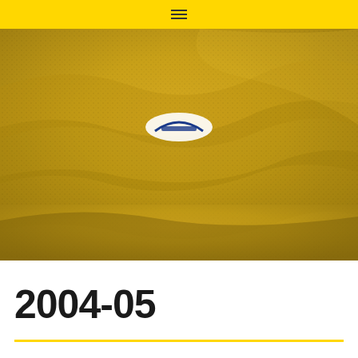≡
[Figure (photo): Close-up macro photograph of yellow/golden athletic jersey fabric texture showing knitted mesh pattern with subtle wavy folds. A small blue and white logo/badge is partially visible near the top center of the fabric.]
2004-05